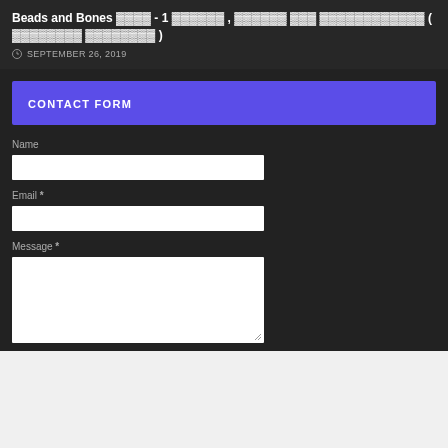Beads and Bones ████ - 1 ██████ , ██████ ███ ████████████ ( ████████ ████████ )
SEPTEMBER 26, 2019
CONTACT FORM
Name
Email *
Message *